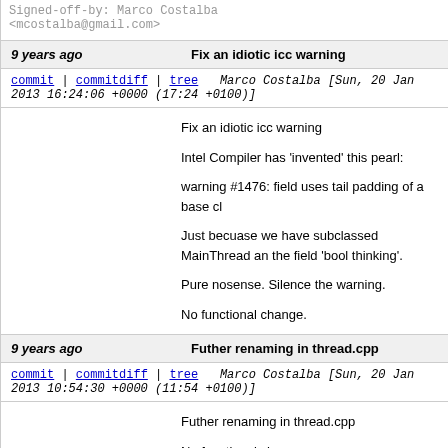Signed-off-by: Marco Costalba <mcostalba@gmail.com>
9 years ago   Fix an idiotic icc warning
commit | commitdiff | tree   Marco Costalba [Sun, 20 Jan 2013 16:24:06 +0000 (17:24 +0100)]
Fix an idiotic icc warning

Intel Compiler has 'invented' this pearl:

warning #1476: field uses tail padding of a base cl

Just becuase we have subclassed MainThread and the field 'bool thinking'.

Pure nosense. Silence the warning.

No functional change.
9 years ago   Futher renaming in thread.cpp
commit | commitdiff | tree   Marco Costalba [Sun, 20 Jan 2013 10:54:30 +0000 (11:54 +0100)]
Futher renaming in thread.cpp

No functional change.